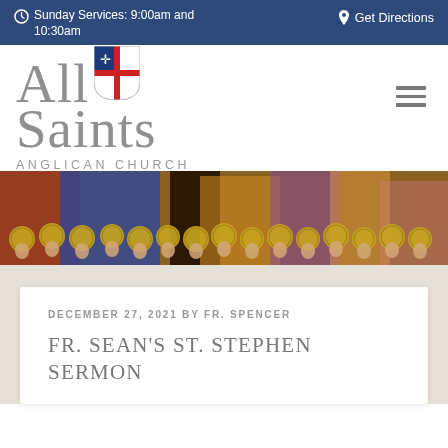Sunday Services: 9:00am and 10:30am | Get Directions
[Figure (logo): All Saints Anglican Church logo with Episcopal shield]
[Figure (photo): Medieval painting of saints with gold halos, colorful robes]
DECEMBER 27, 2021 BY FR. SPENCER
FR. SEAN'S ST. STEPHEN SERMON